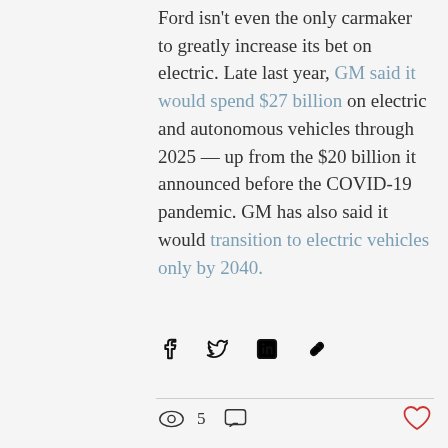Ford isn't even the only carmaker to greatly increase its bet on electric. Late last year, GM said it would spend $27 billion on electric and autonomous vehicles through 2025 — up from the $20 billion it announced before the COVID-19 pandemic. GM has also said it would transition to electric vehicles only by 2040.
[Figure (other): Social share icons row: Facebook, Twitter, LinkedIn, link/chain icon]
[Figure (other): Post stats row: eye icon with count 5, comment bubble icon; heart/like icon on right]
Recent Posts
[Figure (photo): Partial photo of a building with green awning/canopy, partially visible at the bottom of the page]